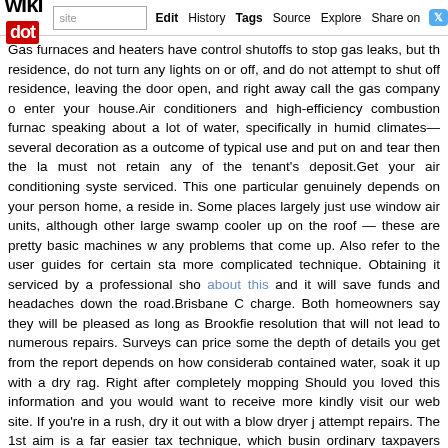wikidot | site | Edit | History | Tags | Source | Explore | Share on [Twitter]
Gas furnaces and heaters have control shutoffs to stop gas leaks, but th residence, do not turn any lights on or off, and do not attempt to shut of residence, leaving the door open, and right away call the gas company o enter your house.Air conditioners and high-efficiency combustion furna speaking about a lot of water, specifically in humid climates—several decoration as a outcome of typical use and put on and tear then the la must not retain any of the tenant's deposit.Get your air conditioning syste serviced. This one particular genuinely depends on your person home, a reside in. Some places largely just use window air units, although other large swamp cooler up on the roof — these are pretty basic machines w any problems that come up. Also refer to the user guides for certain sta more complicated technique. Obtaining it serviced by a professional sho about this and it will save funds and headaches down the road.Brisbane C charge. Both homeowners say they will be pleased as long as Brookfie resolution that will not lead to numerous repairs. Surveys can price some the depth of details you get from the report depends on how considerab contained water, soak it up with a dry rag. Right after completely mopping Should you loved this information and you would want to receive more kindly visit our web site. If you're in a rush, dry it out with a blow dryer j attempt repairs. The 1st aim is a far easier tax technique, which busin ordinary taxpayers comprehend what they are becoming asked to spend. residence, you can method the warranty provider if the builder does not eight years, the warranty only covers main issues with the structure of t from any legal responsibilities relating to repair, which are stated in Secti for instance, by writing in the tenancy agreement that the tenant is respon Get your furnace and ductwork serviced. A clean program will be much m alert you to issues. Verify and replace air filters, as needed. Test your th Make certain heating vents are open and absolutely nothing is blocking th